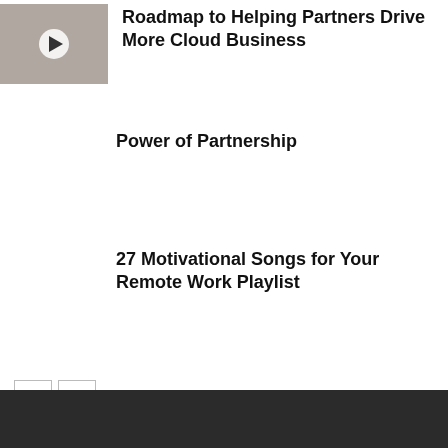[Figure (photo): Video thumbnail showing a person, with a play button overlay circle in the top-left area]
Roadmap to Helping Partners Drive More Cloud Business
Power of Partnership
27 Motivational Songs for Your Remote Work Playlist
< >  (pagination navigation buttons)